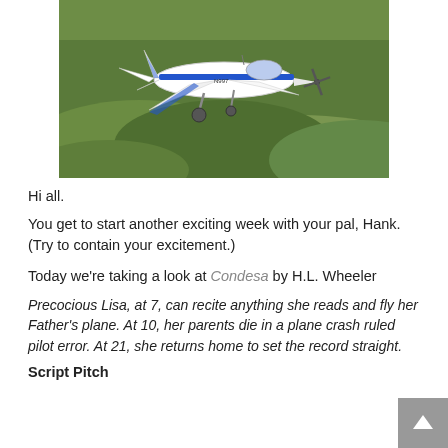[Figure (photo): A white and blue single-engine small aircraft flying low over green hilly terrain, photographed from slightly above and in front.]
Hi all.
You get to start another exciting week with your pal, Hank. (Try to contain your excitement.)
Today we're taking a look at Condesa by H.L. Wheeler
Precocious Lisa, at 7, can recite anything she reads and fly her Father's plane. At 10, her parents die in a plane crash ruled pilot error. At 21, she returns home to set the record straight.
Script Pitch